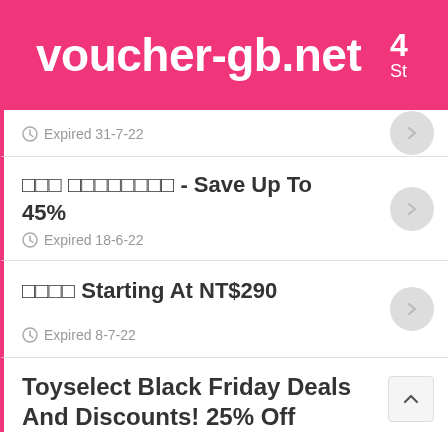voucher-gb.net
Expired 31-7-22
□□□ □□□□□□□□ - Save Up To 45%
Expired 18-6-22
□□□□ Starting At NT$290
Expired 8-7-22
Toyselect Black Friday Deals And Discounts! 25% Off